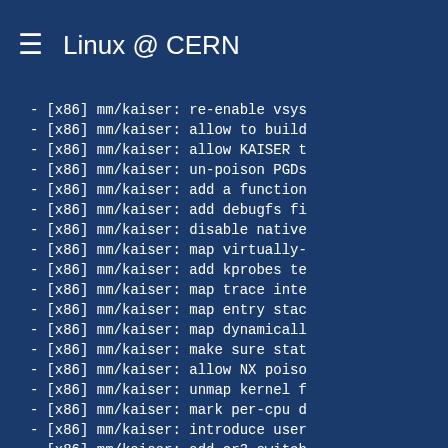Linux @ CERN
- [x86] mm/kaiser: re-enable vsys
- [x86] mm/kaiser: allow to build
- [x86] mm/kaiser: allow KAISER t
- [x86] mm/kaiser: un-poison PGDs
- [x86] mm/kaiser: add a function
- [x86] mm/kaiser: add debugfs fi
- [x86] mm/kaiser: disable native
- [x86] mm/kaiser: map virtually-
- [x86] mm/kaiser: add kprobes te
- [x86] mm/kaiser: map trace inte
- [x86] mm/kaiser: map entry stac
- [x86] mm/kaiser: map dynamicall
- [x86] mm/kaiser: make sure stat
- [x86] mm/kaiser: allow NX poiso
- [x86] mm/kaiser: unmap kernel f
- [x86] mm/kaiser: mark per-cpu d
- [x86] mm/kaiser: introduce user
- [x86] mm/kaiser: add cr3 switch
- [x86] mm/kaiser: remove scratch
- [x86] mm/kaiser: prepare assemb
- [x86] mm/kaiser: Disable global
- [x86] mm: Document X86_CR4_PCE